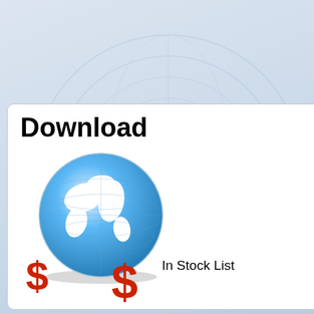[Figure (illustration): Download In Stock List banner with globe and dollar signs]
[Figure (photo): Nike Air Jordan 13 men shoes - black with purple sole, close-up photo]
china wholesale nike air jordan 13 men shoes online
ID : 68003
Special Price: US$ 50
Add to Cart
[Figure (photo): Partial view of another Nike Air Jordan shoe - blue colorway]
cheap wh... 13 m...
Spec...
[Figure (photo): Nike Air Jordan 13 shoes - black with neon green sole, outdoor setting]
china cheap nike air jordan 13 shoes aaa aaa
ID : 67875
[Figure (photo): Partial view of colorful Jordan shoes - orange/white colorway on grass]